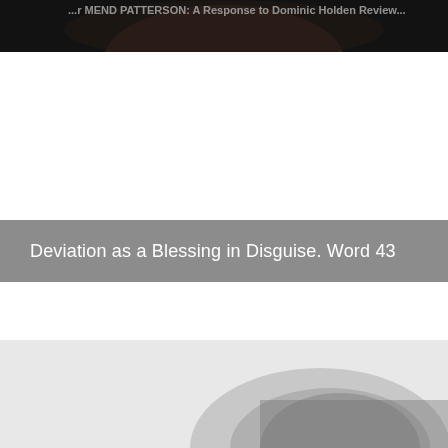[Figure (photo): Partial dark photo at the top of the page showing a face/person with white text overlay partially visible at the top edge]
Deviation as a Blessing in Disguise. Word 43
[Figure (photo): Partial black and white or grayscale photo at the bottom of the page showing a person's head/hat]